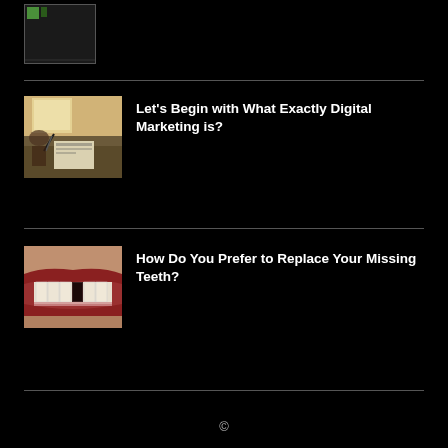[Figure (photo): Partial thumbnail image cut off at top of page]
[Figure (photo): Person working at desk with digital marketing materials]
Let’s Begin with What Exactly Digital Marketing is?
[Figure (photo): Close-up of person’s mouth with missing teeth]
How Do You Prefer to Replace Your Missing Teeth?
©